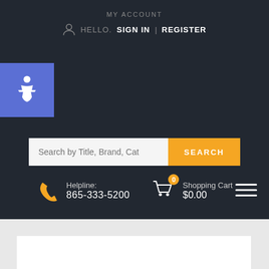MY ACCOUNT
HELLO. SIGN IN | REGISTER
[Figure (illustration): Blue accessibility icon button with wheelchair symbol in top-left corner]
[Figure (other): Search bar with placeholder 'Search by Title, Brand, Cat' and orange SEARCH button]
Helpline: 865-333-5200
Shopping Cart $0.00
[Figure (illustration): Hamburger menu icon (three horizontal lines) at bottom right]
[Figure (illustration): White rectangular area at the bottom of the page]